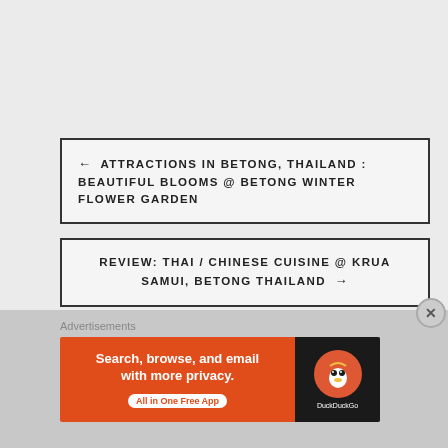← ATTRACTIONS IN BETONG, THAILAND : BEAUTIFUL BLOOMS @ BETONG WINTER FLOWER GARDEN
REVIEW: THAI / CHINESE CUISINE @ KRUA SAMUI, BETONG THAILAND →
Advertisements
[Figure (other): DuckDuckGo advertisement banner: Search, browse, and email with more privacy. All in One Free App. DuckDuckGo logo on dark background.]